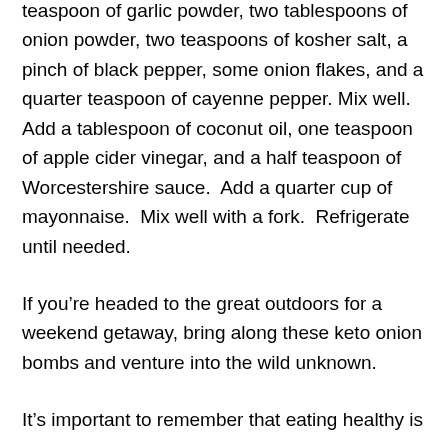teaspoon of garlic powder, two tablespoons of onion powder, two teaspoons of kosher salt, a pinch of black pepper, some onion flakes, and a quarter teaspoon of cayenne pepper. Mix well. Add a tablespoon of coconut oil, one teaspoon of apple cider vinegar, and a half teaspoon of Worcestershire sauce.  Add a quarter cup of mayonnaise.  Mix well with a fork.  Refrigerate until needed.
If you're headed to the great outdoors for a weekend getaway, bring along these keto onion bombs and venture into the wild unknown.
It's important to remember that eating healthy is